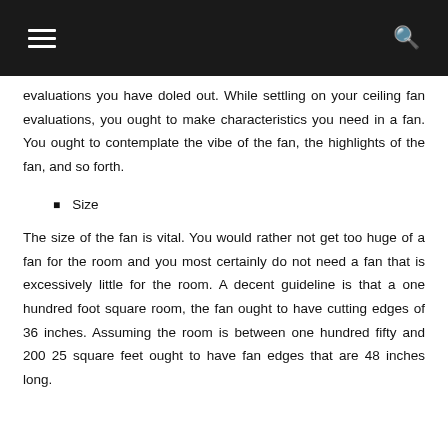evaluations you have doled out. While settling on your ceiling fan evaluations, you ought to make characteristics you need in a fan. You ought to contemplate the vibe of the fan, the highlights of the fan, and so forth.
Size
The size of the fan is vital. You would rather not get too huge of a fan for the room and you most certainly do not need a fan that is excessively little for the room. A decent guideline is that a one hundred foot square room, the fan ought to have cutting edges of 36 inches. Assuming the room is between one hundred fifty and 200 25 square feet ought to have fan edges that are 48 inches long.